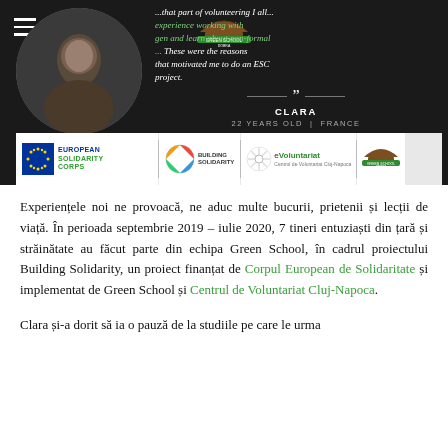Header with Green School logo, navigation hamburger, profile photo, quote from Clara, and partner logos (European Solidarity Corps, Building Solidarity, eVoluntariat, Green School)
[Figure (photo): Circular profile photo of a person with dark background in top-left of header]
...that part of volunteering I all... experience working with gen and learn about non-formal ... These were the reasons that motivated me to do an ESC project.
CLARA
22 YEARS OLD | FRANCE
[Figure (logo): Banner with partner logos: European Solidarity Corps (EU flag), Building Solidarity, eVoluntariat, Green School Dobra]
Experiențele noi ne provoacă, ne aduc multe bucurii, prietenii și lecții de viață. În perioada septembrie 2019 – iulie 2020, 7 tineri entuziaști din țară și străinătate au făcut parte din echipa Green School, în cadrul proiectului Building Solidarity, un proiect finanțat de Corpul European de Solidaritate și implementat de Green School și Centrul de Voluntariat Cluj-Napoca.
Clara și-a dorit să ia o pauză de la studiile pe care le urma